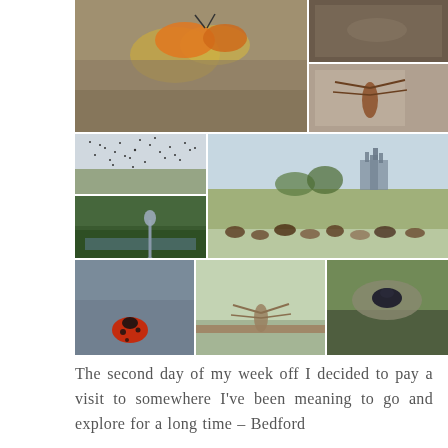[Figure (photo): A collage of nature photographs showing: a butterfly on rocks (large, top-left), two smaller photos top-right (close-up insect/dragonfly, brown texture), a murmuration of starlings over fields (middle-left top), a landscape with Ely Cathedral in background and cattle grazing (large middle-right), a heron in wetland vegetation (middle-left bottom), a ladybird on stone (bottom-left), a dragonfly on a wooden rail (bottom-center), and a beetle on stone (bottom-right).]
The second day of my week off I decided to pay a visit to somewhere I've been meaning to go and explore for a long time – Bedford